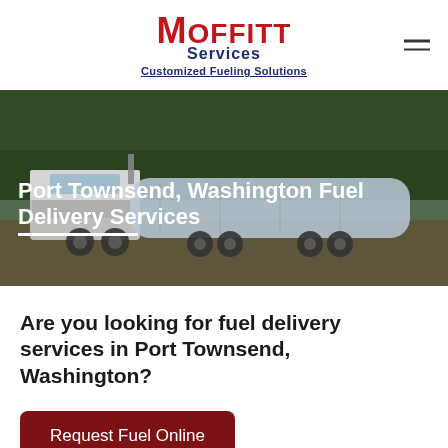[Figure (logo): Moffitt Services logo with red bold text 'MOFFITT' and blue 'Services' and blue tagline 'Customized Fueling Solutions']
[Figure (photo): Hero banner photo of a large white fuel tanker truck on a dirt road with trees in the background, with overlay text]
Port Townsend, Washington Fuel Delivery Services
Are you looking for fuel delivery services in Port Townsend, Washington?
Request Fuel Online